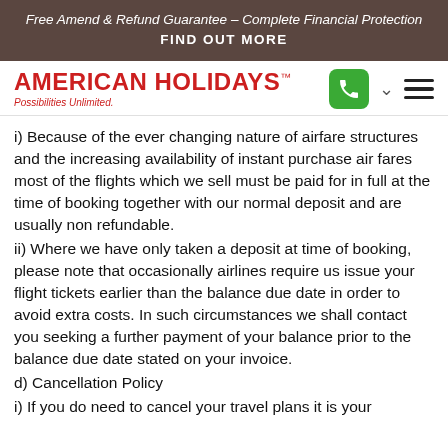Free Amend & Refund Guarantee – Complete Financial Protection
FIND OUT MORE
[Figure (logo): American Holidays logo with tagline 'Possibilities Unlimited.' in red, phone icon in green button, chevron, and hamburger menu]
i) Because of the ever changing nature of airfare structures and the increasing availability of instant purchase air fares most of the flights which we sell must be paid for in full at the time of booking together with our normal deposit and are usually non refundable.
ii) Where we have only taken a deposit at time of booking, please note that occasionally airlines require us issue your flight tickets earlier than the balance due date in order to avoid extra costs. In such circumstances we shall contact you seeking a further payment of your balance prior to the balance due date stated on your invoice.
d) Cancellation Policy
i) If you do need to cancel your travel plans it is your